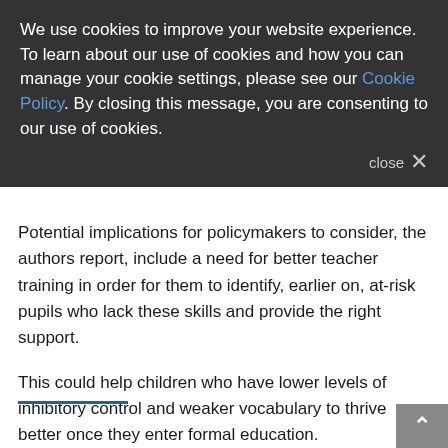We use cookies to improve your website experience. To learn about our use of cookies and how you can manage your cookie settings, please see our Cookie Policy. By closing this message, you are consenting to our use of cookies.
Potential implications for policymakers to consider, the authors report, include a need for better teacher training in order for them to identify, earlier on, at-risk pupils who lack these skills and provide the right support.
This could help children who have lower levels of inhibitory control and weaker vocabulary to thrive better once they enter formal education.